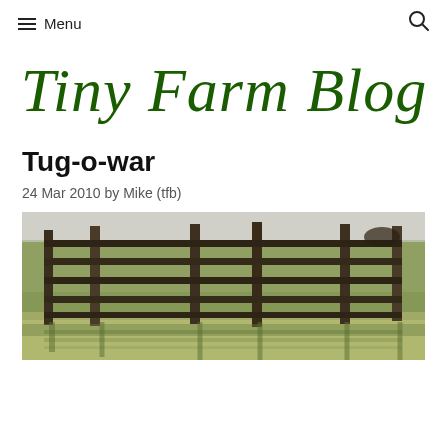Menu
Tiny Farm Blog
Tug-o-war
24 Mar 2010 by Mike (tfb)
[Figure (photo): A wooden fence with horizontal rails on a farm field with short brown-green grass. Fence posts are visible and shadows fall on the ground. Sky visible at top.]